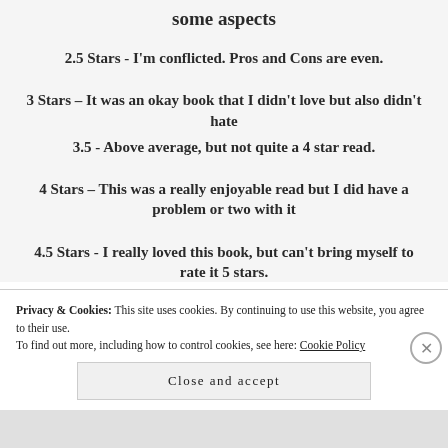some aspects
2.5 Stars - I'm conflicted. Pros and Cons are even.
3 Stars – It was an okay book that I didn't love but also didn't hate
3.5 - Above average, but not quite a 4 star read.
4 Stars – This was a really enjoyable read but I did have a problem or two with it
4.5 Stars - I really loved this book, but can't bring myself to rate it 5 stars.
Privacy & Cookies: This site uses cookies. By continuing to use this website, you agree to their use. To find out more, including how to control cookies, see here: Cookie Policy
Close and accept